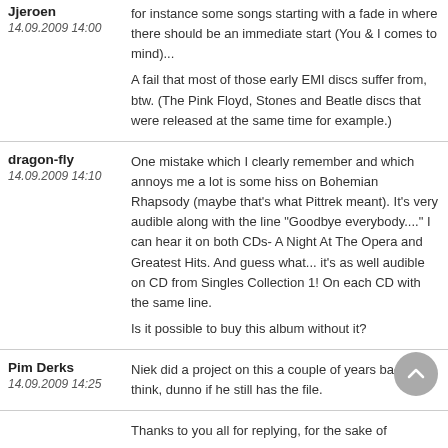for instance some songs starting with a fade in where there should be an immediate start (You & I comes to mind)...
A fail that most of those early EMI discs suffer from, btw. (The Pink Floyd, Stones and Beatle discs that were released at the same time for example.)
Jjeroen
14.09.2009 14:00
One mistake which I clearly remember and which annoys me a lot is some hiss on Bohemian Rhapsody (maybe that's what Pittrek meant). It's very audible along with the line "Goodbye everybody...." I can hear it on both CDs- A Night At The Opera and Greatest Hits. And guess what... it's as well audible on CD from Singles Collection 1! On each CD with the same line.
Is it possible to buy this album without it?
dragon-fly
14.09.2009 14:10
Niek did a project on this a couple of years back I think, dunno if he still has the file.
Pim Derks
14.09.2009 14:25
Thanks to you all for replying, for the sake of